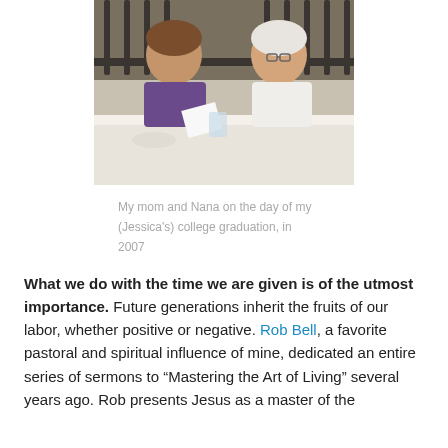[Figure (photo): Two women sitting at an outdoor table with white tablecloth, one younger with brown hair in a purple top, one older with white hair in a white shirt, looking at papers together. Iron fence visible in background.]
My mom and Nana on the day of my (Jessica's) college graduation, in 2007
What we do with the time we are given is of the utmost importance. Future generations inherit the fruits of our labor, whether positive or negative. Rob Bell, a favorite pastoral and spiritual influence of mine, dedicated an entire series of sermons to “Mastering the Art of Living” several years ago. Rob presents Jesus as a master of the